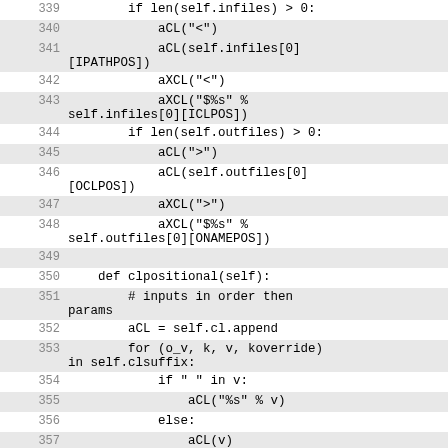339  if len(self.infiles) > 0:
340      aCL("<")
341      aCL(self.infiles[0][IPATHPOS])
342      aXCL("<")
343      aXCL("$%s" % self.infiles[0][ICLPOS])
344  if len(self.outfiles) > 0:
345      aCL(">")
346      aCL(self.outfiles[0][OCLPOS])
347      aXCL(">")
348      aXCL("$%s" % self.outfiles[0][ONAMEPOS])
349
350  def clpositional(self):
351      # inputs in order then params
352      aCL = self.cl.append
353      for (o_v, k, v, koverride) in self.clsuffix:
354          if " " in v:
355              aCL("%s" % v)
356          else:
357              aCL(v)
358      aXCL = self.xmlcl.append
359      for (o_v, k, v, koverride) in self.xclsuffix:
360          aXCL(v)